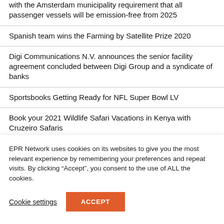with the Amsterdam municipality requirement that all passenger vessels will be emission-free from 2025
Spanish team wins the Farming by Satellite Prize 2020
Digi Communications N.V. announces the senior facility agreement concluded between Digi Group and a syndicate of banks
Sportsbooks Getting Ready for NFL Super Bowl LV
Book your 2021 Wildlife Safari Vacations in Kenya with Cruzeiro Safaris
Innovation Roadshow: Transforming further...
EPR Network uses cookies on its websites to give you the most relevant experience by remembering your preferences and repeat visits. By clicking “Accept”, you consent to the use of ALL the cookies.
Cookie settings
ACCEPT